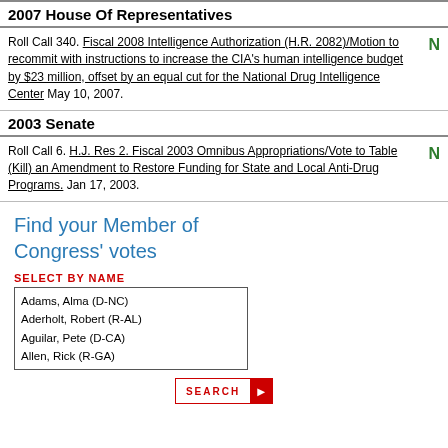2007 House Of Representatives
Roll Call 340. Fiscal 2008 Intelligence Authorization (H.R. 2082)/Motion to recommit with instructions to increase the CIA's human intelligence budget by $23 million, offset by an equal cut for the National Drug Intelligence Center May 10, 2007. N
2003 Senate
Roll Call 6. H.J. Res 2. Fiscal 2003 Omnibus Appropriations/Vote to Table (Kill) an Amendment to Restore Funding for State and Local Anti-Drug Programs. Jan 17, 2003. N
Find your Member of Congress' votes
SELECT BY NAME
Adams, Alma (D-NC)
Aderholt, Robert (R-AL)
Aguilar, Pete (D-CA)
Allen, Rick (R-GA)
SEARCH